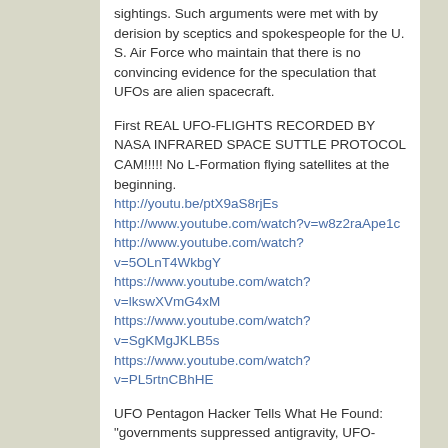sightings. Such arguments were met with by derision by sceptics and spokespeople for the U. S. Air Force who maintain that there is no convincing evidence for the speculation that UFOs are alien spacecraft.
First REAL UFO-FLIGHTS RECORDED BY NASA INFRARED SPACE SUTTLE PROTOCOL CAM!!!!! No L-Formation flying satellites at the beginning. http://youtu.be/ptX9aS8rjEs http://www.youtube.com/watch?v=w8z2raApe1c http://www.youtube.com/watch?v=5OLnT4WkbgY https://www.youtube.com/watch?v=lkswXVmG4xM https://www.youtube.com/watch?v=SgKMgJKLB5s https://www.youtube.com/watch?v=PL5rtnCBhHE
UFO Pentagon Hacker Tells What He Found: "governments suppressed antigravity, UFO-related technologies, free energy or what they call zero-point energy. This should not be kept hidden from the public... It was a silvery, cigar-shaped object with geodesic spheres on either side. There were no visible seams or riveting... I also got access to Excel